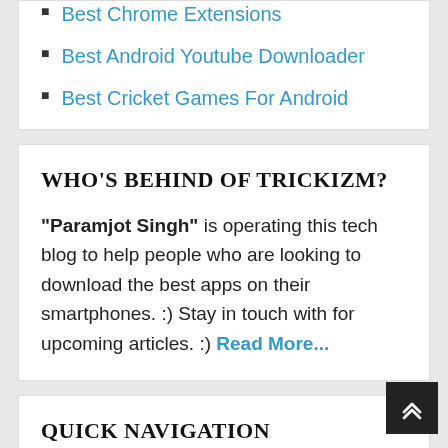Best Chrome Extensions
Best Android Youtube Downloader
Best Cricket Games For Android
WHO'S BEHIND OF TRICKIZM?
"Paramjot Singh" is operating this tech blog to help people who are looking to download the best apps on their smartphones. :) Stay in touch with for upcoming articles. :) Read More...
QUICK NAVIGATION